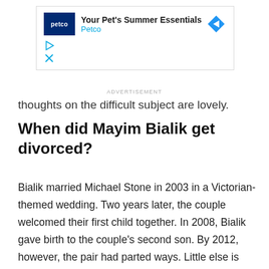[Figure (other): Petco advertisement banner with logo, headline 'Your Pet's Summer Essentials', subtext 'Petco', and a blue diamond arrow icon. Below are play and close control icons.]
thoughts on the difficult subject are lovely.
When did Mayim Bialik get divorced?
Bialik married Michael Stone in 2003 in a Victorian-themed wedding. Two years later, the couple welcomed their first child together. In 2008, Bialik gave birth to the couple's second son. By 2012, however, the pair had parted ways. Little else is known about Stone.